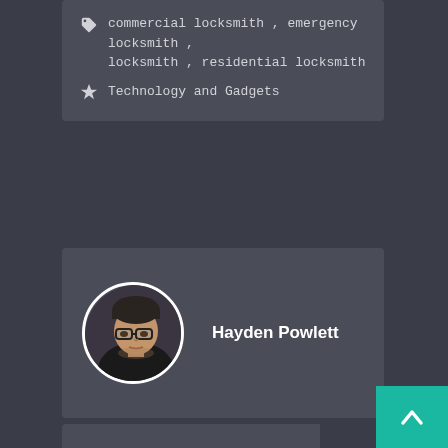commercial locksmith , emergency locksmith , locksmith , residential locksmith
Technology and Gadgets
Hayden Powlett
[Figure (photo): Circular portrait photo of Hayden Powlett, a middle-aged man wearing glasses and a dark hat/cap, with a dark background]